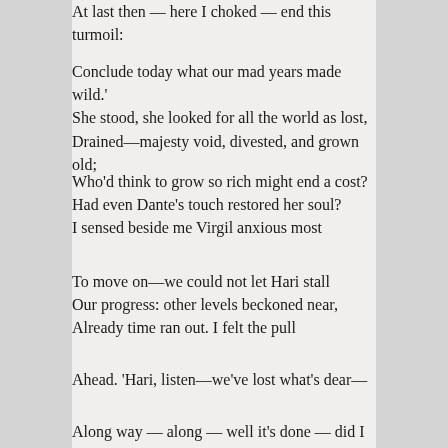At last then — here I choked — end this turmoil:
Conclude today what our mad years made wild.'
She stood, she looked for all the world as lost,
Drained—majesty void, divested, and grown old;
Who'd think to grow so rich might end a cost?
Had even Dante's touch restored her soul?
I sensed beside me Virgil anxious most
To move on—we could not let Hari stall
Our progress: other levels beckoned near,
Already time ran out. I felt the pull
Ahead. 'Hari, listen—we've lost what's dear—
Along way — along — well it's done — did I